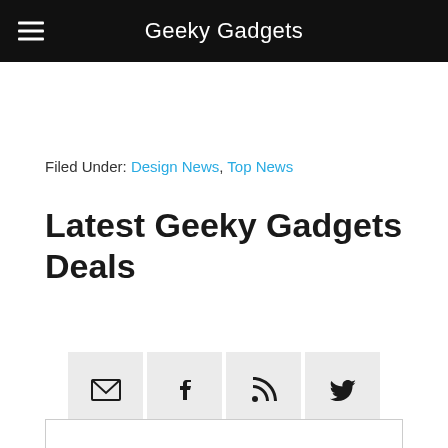Geeky Gadgets
Filed Under: Design News, Top News
Latest Geeky Gadgets Deals
[Figure (infographic): Four social sharing icon buttons: email (envelope), Facebook (f), RSS (signal/wifi icon), Twitter (bird)]